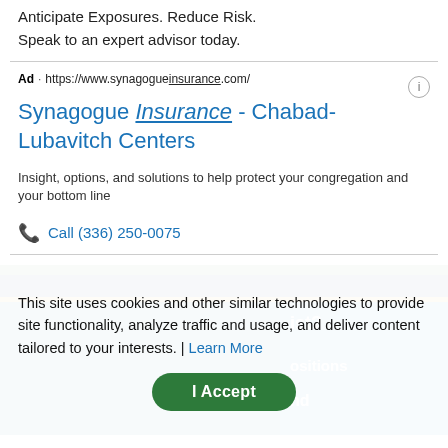Anticipate Exposures. Reduce Risk.
Speak to an expert advisor today.
Ad · https://www.synagogueinsurance.com/
Synagogue Insurance - Chabad-Lubavitch Centers
Insight, options, and solutions to help protect your congregation and your bottom line
Call (336) 250-0075
This site uses cookies and other similar technologies to provide site functionality, analyze traffic and usage, and deliver content tailored to your interests. | Learn More
I Accept